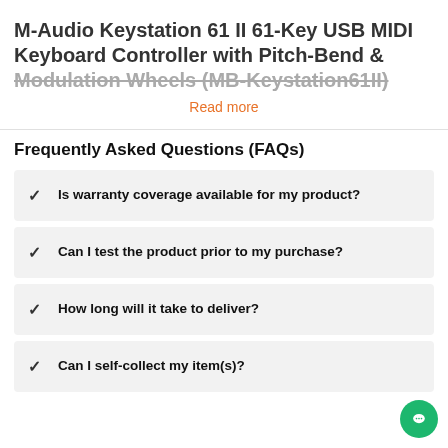M-Audio Keystation 61 II 61-Key USB MIDI Keyboard Controller with Pitch-Bend & Modulation Wheels (MB-Keystation61II)
Read more
Frequently Asked Questions (FAQs)
Is warranty coverage available for my product?
Can I test the product prior to my purchase?
How long will it take to deliver?
Can I self-collect my item(s)?